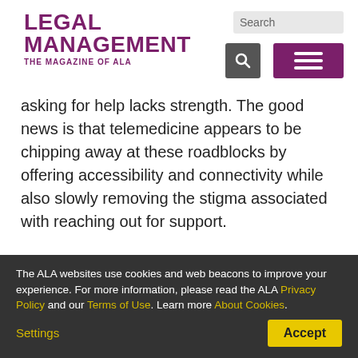LEGAL MANAGEMENT THE MAGAZINE OF ALA
asking for help lacks strength. The good news is that telemedicine appears to be chipping away at these roadblocks by offering accessibility and connectivity while also slowly removing the stigma associated with reaching out for support.

In a 2016 study published by The Lancet Psychiatry, it was
The ALA websites use cookies and web beacons to improve your experience. For more information, please read the ALA Privacy Policy and our Terms of Use. Learn more About Cookies.
Settings
Accept